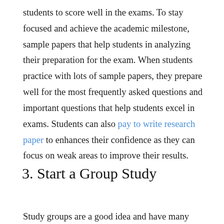students to score well in the exams. To stay focused and achieve the academic milestone, sample papers that help students in analyzing their preparation for the exam. When students practice with lots of sample papers, they prepare well for the most frequently asked questions and important questions that help students excel in exams. Students can also pay to write research paper to enhances their confidence as they can focus on weak areas to improve their results.
3. Start a Group Study
Study groups are a good idea and have many